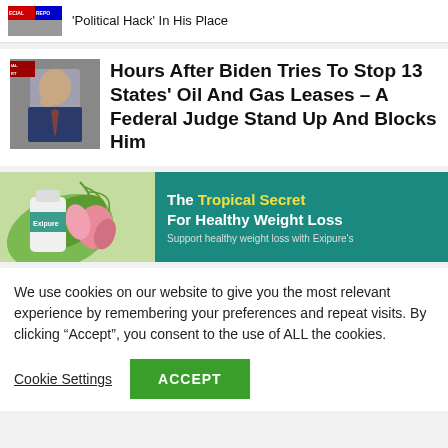[Figure (screenshot): News article thumbnail with SPECIAL REPORT badge and partial headline 'Political Hack In His Place']
'Political Hack' In His Place
[Figure (photo): Photo of Joe Biden with hand near face, with SPECIAL REPORT badge overlay]
Hours After Biden Tries To Stop 13 States' Oil And Gas Leases – A Federal Judge Stand Up And Blocks Him
[Figure (illustration): Exipure supplement bottle with tropical leaves and flowers advertising image]
The Tropical Secret For Healthy Weight Loss Support healthy weight loss with Exipure's
We use cookies on our website to give you the most relevant experience by remembering your preferences and repeat visits. By clicking “Accept”, you consent to the use of ALL the cookies.
Cookie Settings
ACCEPT